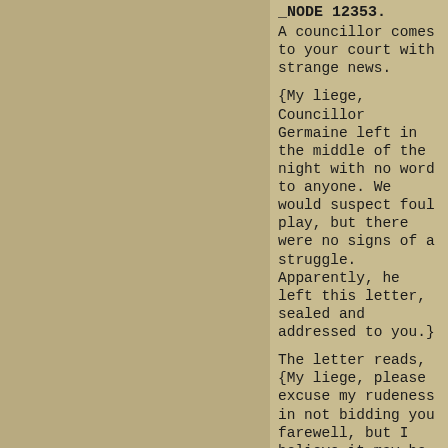_NODE 12353.
A councillor comes to your court with strange news.
{My liege, Councillor Germaine left in the middle of the night with no word to anyone. We would suspect foul play, but there were no signs of a struggle. Apparently, he left this letter, sealed and addressed to you.}
The letter reads, {My liege, please excuse my rudeness in not bidding you farewell, but I believe it may be safer for me away from your court.}
You shall never hear from the Order again.
Do you:
[a] send word of what you know to the bishop.
[b] tell the bishop you know